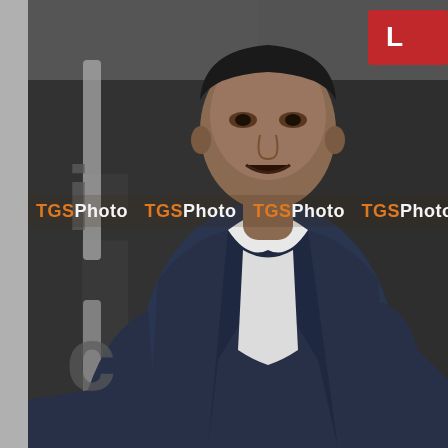[Figure (photo): A man in a dark navy suit jacket and open-collar white shirt standing in front of a dark banner/backdrop with large white text letters visible. A red sign is partially visible in the upper right. The image has a TGSPhoto watermark repeated across the middle of the image.]